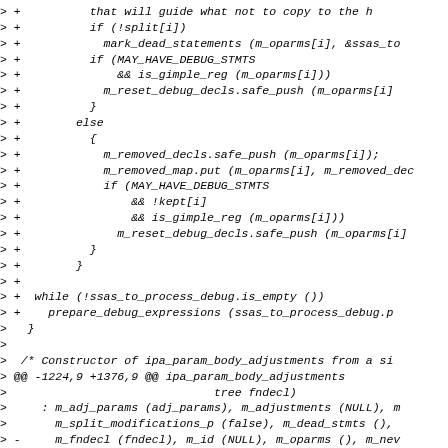Code diff showing changes to ipa_param_body_adjustments constructor and related logic including mark_dead_statements, m_removed_decls, m_reset_debug_decls, and while loop for ssas_to_process_debug.